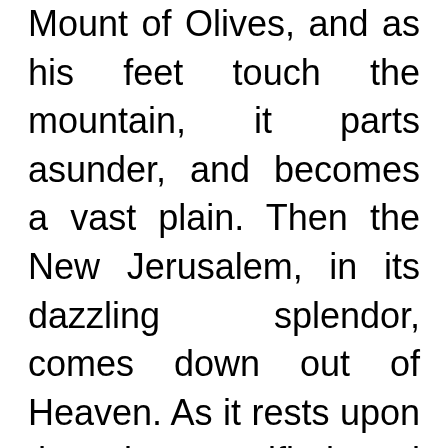Mount of Olives, and as his feet touch the mountain, it parts asunder, and becomes a vast plain. Then the New Jerusalem, in its dazzling splendor, comes down out of Heaven. As it rests upon the place purified and made ready to receive it, Christ, with his people and the angels, enters the holy city.

Now Satan prepares for a last